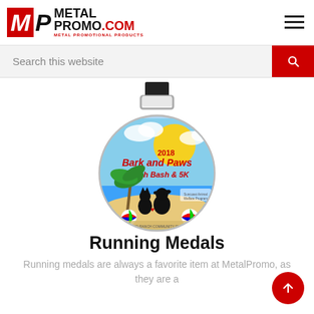[Figure (logo): MetalPromo.com logo with red MP letters and black text, plus hamburger menu icon]
Search this website
[Figure (photo): 2018 Bark and Paws Beach Bash 5K running medal with beach scene, cat and dog silhouettes, palm trees, and beach balls]
Running Medals
Running medals are always a favorite item at MetalPromo, as they are a